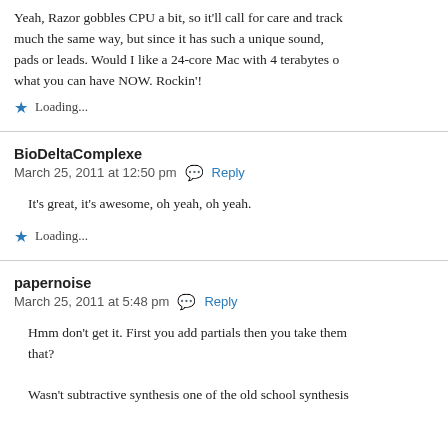Yeah, Razor gobbles CPU a bit, so it'll call for care and track... much the same way, but since it has such a unique sound, pads or leads. Would I like a 24-core Mac with 4 terabytes o... what you can have NOW. Rockin'!
Loading...
BioDeltaComplexe
March 25, 2011 at 12:50 pm  Reply
It's great, it's awesome, oh yeah, oh yeah.
Loading...
papernoise
March 25, 2011 at 5:48 pm  Reply
Hmm don't get it. First you add partials then you take them that?
Wasn't subtractive synthesis one of the old school synthesis